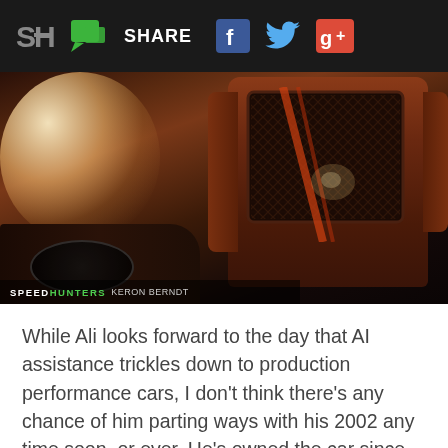SH | SHARE | [Facebook] [Twitter] [Google+]
[Figure (photo): Close-up photograph of a racing car seat with mesh headrest insert, showing a black bucket seat with red/orange trim detail. Shot with shallow depth of field, warm tones with dramatic lighting.]
SPEEDHUNTERS KERON BERNDT
While Ali looks forward to the day that AI assistance trickles down to production performance cars, I don't think there's any chance of him parting ways with his 2002 any time soon, or ever. He's owned the car since his college days, and has been working on it ever since.